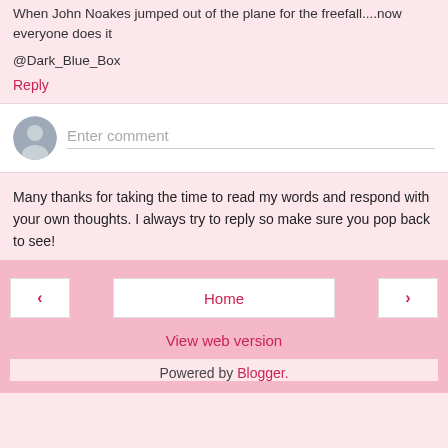When John Noakes jumped out of the plane for the freefall....now everyone does it
@Dark_Blue_Box
Reply
[Figure (other): Comment input box with avatar icon and placeholder text 'Enter comment']
Many thanks for taking the time to read my words and respond with your own thoughts. I always try to reply so make sure you pop back to see!
Home | View web version | Powered by Blogger.